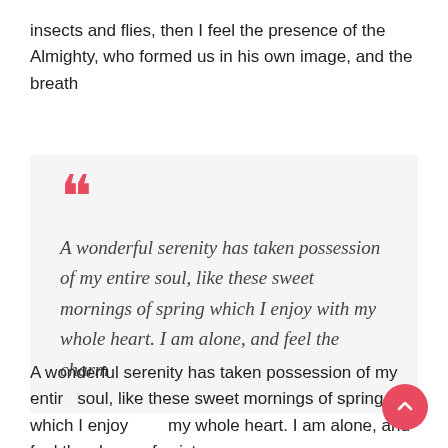insects and flies, then I feel the presence of the Almighty, who formed us in his own image, and the breath
A wonderful serenity has taken possession of my entire soul, like these sweet mornings of spring which I enjoy with my whole heart. I am alone, and feel the charm
A wonderful serenity has taken possession of my entire soul, like these sweet mornings of spring which I enjoy with my whole heart. I am alone, and feel the charm of existence